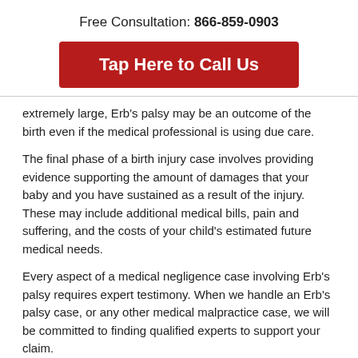Free Consultation: 866-859-0903
Tap Here to Call Us
extremely large, Erb’s palsy may be an outcome of the birth even if the medical professional is using due care.
The final phase of a birth injury case involves providing evidence supporting the amount of damages that your baby and you have sustained as a result of the injury. These may include additional medical bills, pain and suffering, and the costs of your child’s estimated future medical needs.
Every aspect of a medical negligence case involving Erb’s palsy requires expert testimony. When we handle an Erb’s palsy case, or any other medical malpractice case, we will be committed to finding qualified experts to support your claim.